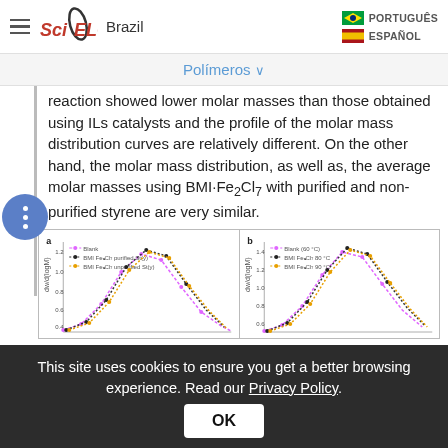[Figure (screenshot): SciELO Brazil website navigation bar with hamburger menu, SciELO Brazil logo, and language options (PORTUGUÊS, ESPAÑOL) with flag icons]
Polímeros ∨
reaction showed lower molar masses than those obtained using ILs catalysts and the profile of the molar mass distribution curves are relatively different. On the other hand, the molar mass distribution, as well as, the average molar masses using BMI·Fe₂Cl₇ with purified and non-purified styrene are very similar.
[Figure (line-chart): Two panels (a and b) showing molar mass distribution curves. Panel a shows curves for Blank, BMI·Fe₂Cl₇ purified St(y), and BMI·Fe₂Cl₇ unpurified St(y). Panel b shows curves for Blank (60°C), BMI·Fe₂Cl₇ 80°C, and BMI·Fe₂Cl₇ 90°C. Both panels show bell-shaped distribution curves with dw/d(logM) on y-axis.]
This site uses cookies to ensure you get a better browsing experience. Read our Privacy Policy.